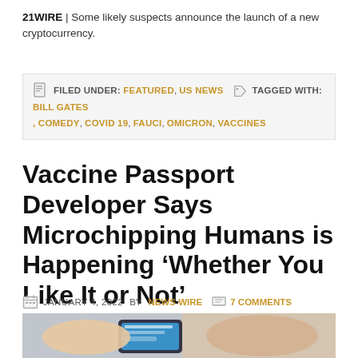21WIRE | Some likely suspects announce the launch of a new cryptocurrency.
FILED UNDER: FEATURED, US NEWS   TAGGED WITH: BILL GATES, COMEDY, COVID 19, FAUCI, OMICRON, VACCINES
Vaccine Passport Developer Says Microchipping Humans is Happening ‘Whether You Like It or Not’
JANUARY 4, 2022 BY NEWS WIRE   7 COMMENTS
[Figure (photo): A smartphone being held near a person's arm, suggesting microchipping or NFC technology]